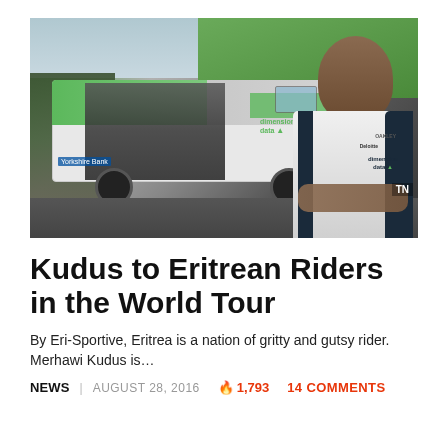[Figure (photo): A composite image showing a Dimension Data team bus with green and white livery at what appears to be a cycling race (Tour de Yorkshire), with a crowd on the left and a digital illustration of a cyclist in Dimension Data kit on the right. A 'TN' watermark appears in the bottom right corner.]
Kudus to Eritrean Riders in the World Tour
By Eri-Sportive, Eritrea is a nation of gritty and gutsy rider. Merhawi Kudus is…
NEWS | AUGUST 28, 2016 🔥 1,793 14 COMMENTS